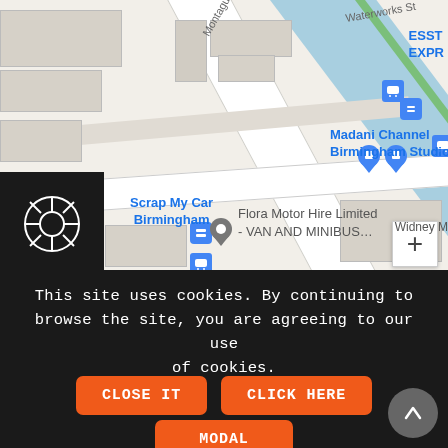[Figure (map): Google Maps screenshot showing Birmingham area with landmarks: Madani Channel Birmingham Studio, Scrap My Car Birmingham, Flora Motor Hire Limited - VAN AND MINIBUS, bus stops, canal (blue diagonal), streets including Montague St, Waterworks St, Erland St, Widney M. Zoom button (+) visible. Blue shopping bag pins and gray location pin visible.]
This site uses cookies. By continuing to browse the site, you are agreeing to our use of cookies.
CLOSE IT
CLICK HERE
MODAL